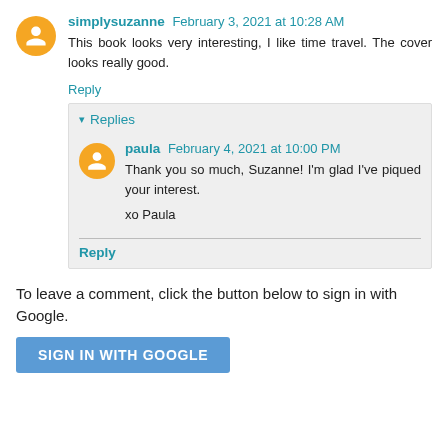simplysuzanne February 3, 2021 at 10:28 AM
This book looks very interesting, I like time travel. The cover looks really good.
Reply
Replies
paula February 4, 2021 at 10:00 PM
Thank you so much, Suzanne! I'm glad I've piqued your interest.
xo Paula
Reply
To leave a comment, click the button below to sign in with Google.
SIGN IN WITH GOOGLE